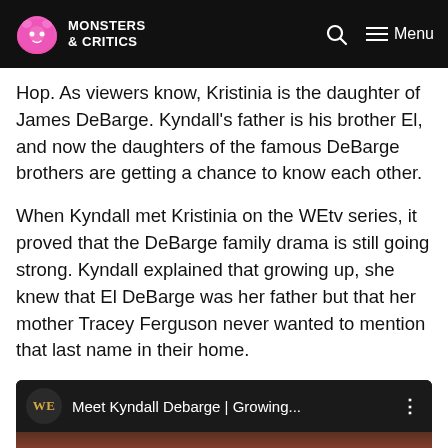Monsters & Critics — Menu
Hop. As viewers know, Kristinia is the daughter of James DeBarge. Kyndall's father is his brother El, and now the daughters of the famous DeBarge brothers are getting a chance to know each other.
When Kyndall met Kristinia on the WEtv series, it proved that the DeBarge family drama is still going strong. Kyndall explained that growing up, she knew that El DeBarge was her father but that her mother Tracey Ferguson never wanted to mention that last name in their home.
[Figure (screenshot): YouTube-style video thumbnail with WE network badge showing 'Meet Kyndall Debarge | Growing...' title with a menu dots icon]